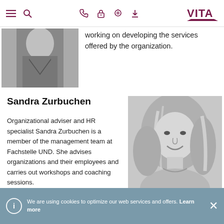VITA — navigation header with menu, search, phone, lock, location, download icons and VITA logo
[Figure (photo): Black and white partial photo of a man in a dark V-neck shirt, cropped at the shoulders/neck]
working on developing the services offered by the organization.
Sandra Zurbuchen
Organizational adviser and HR specialist Sandra Zurbuchen is a member of the management team at Fachstelle UND. She advises organizations and their employees and carries out workshops and coaching sessions.
[Figure (photo): Black and white portrait photo of Sandra Zurbuchen, a woman with long wavy hair with highlights, smiling]
We are using cookies to optimize our web services and offers. Learn more